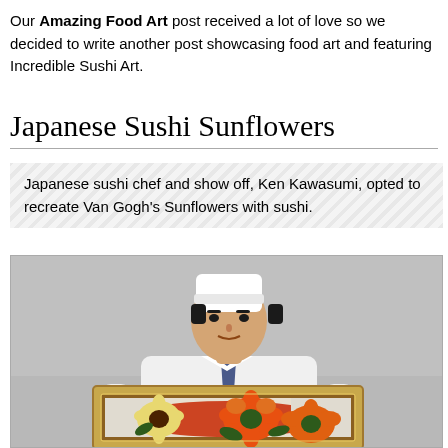Our Amazing Food Art post received a lot of love so we decided to write another post showcasing food art and featuring Incredible Sushi Art.
Japanese Sushi Sunflowers
Japanese sushi chef and show off, Ken Kawasumi, opted to recreate Van Gogh's Sunflowers with sushi.
[Figure (photo): A Japanese sushi chef wearing a white chef's coat and white cap, holding a gold-framed artwork made of sushi depicting sunflowers (recreating Van Gogh's Sunflowers). The background is a plain gray wall.]